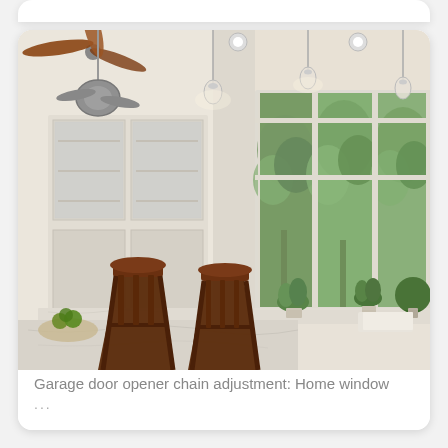[Figure (photo): A bright, white kitchen interior with large multi-pane windows overlooking lush green trees. The kitchen features white cabinetry with glass doors, pendant lights hanging from the ceiling, marble countertops, potted plants on the windowsill, a kitchen sink area, dark wood bar stools at an island, and a ceiling fan with wooden blades. Natural light floods the space.]
Garage door opener chain adjustment: Home window ...